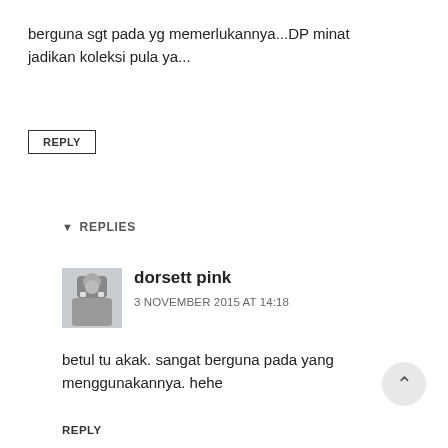berguna sgt pada yg memerlukannya...DP minat jadikan koleksi pula ya...
REPLY
▼ REPLIES
dorsett pink
3 NOVEMBER 2015 AT 14:18
betul tu akak. sangat berguna pada yang menggunakannya. hehe
REPLY